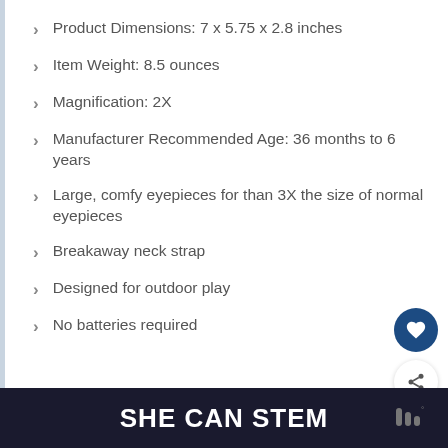Product Dimensions: 7 x 5.75 x 2.8 inches
Item Weight: 8.5 ounces
Magnification: 2X
Manufacturer Recommended Age: 36 months to 6 years
Large, comfy eyepieces for than 3X the size of normal eyepieces
Breakaway neck strap
Designed for outdoor play
No batteries required
SHE CAN STEM